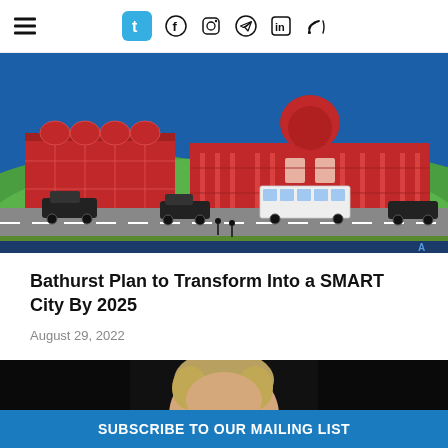Navigation header with hamburger menu and social icons: Tumblr, Facebook, Instagram, Telegram, LinkedIn, RSS
[Figure (illustration): Smart city illustration showing red buildings including a classical domed government building and a modern red facade structure, with a road featuring cars, a bus, pedestrians, and green hills in the background on a blue sky. Bathurst smart city promotional graphic.]
Bathurst Plan to Transform Into a SMART City By 2025
August 29, 2022
[Figure (photo): Partial photo of a person with blond/light brown hair against a dark background, cropped at the bottom of the page.]
SUBSCRIBE TO OUR MAILING LIST